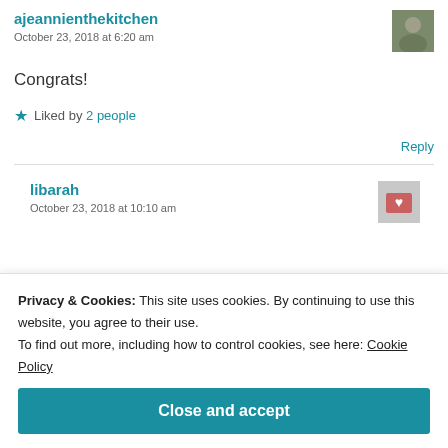ajeannienthekitchen
October 23, 2018 at 6:20 am
Congrats!
Liked by 2 people
Reply
libarah
October 23, 2018 at 10:10 am
Privacy & Cookies: This site uses cookies. By continuing to use this website, you agree to their use. To find out more, including how to control cookies, see here: Cookie Policy
Close and accept